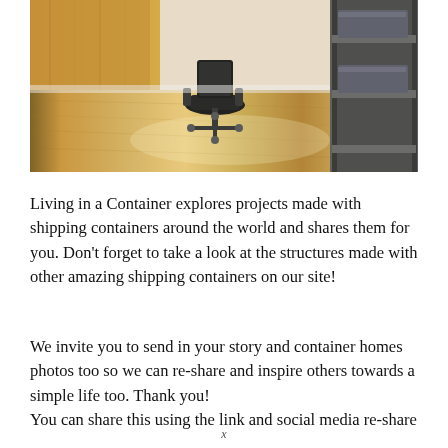[Figure (photo): Interior photo of a container home office with hardwood floors, an office chair on wheels, wooden wall panels, and a metal shelving unit with storage bins on the right side.]
Living in a Container explores projects made with shipping containers around the world and shares them for you. Don't forget to take a look at the structures made with other amazing shipping containers on our site!
We invite you to send in your story and container homes photos too so we can re-share and inspire others towards a simple life too. Thank you!
You can share this using the link and social media re-share
x